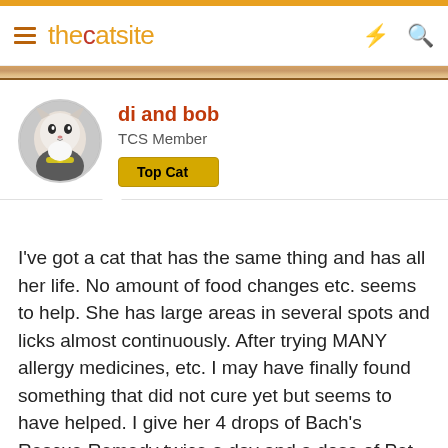thecatsite
di and bob
TCS Member
Top Cat
I've got a cat that has the same thing and has all her life. No amount of food changes etc. seems to help. She has large areas in several spots and licks almost continuously. After trying MANY allergy medicines, etc. I may have finally found something that did not cure yet but seems to have helped. I give her 4 drops of Bach's Rescue Remedy twice a day and a dose of Pet Wellbeing Itch Support Gold. while it has not been a complete cure it has reduced her licking tremendously. I have some treats with omega oils and probioticscoming too. Please post if you can find something that also helps.